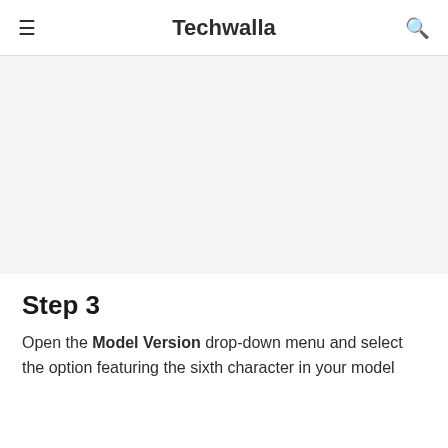Techwalla
[Figure (other): Gray placeholder image area]
Step 3
Open the Model Version drop-down menu and select the option featuring the sixth character in your model